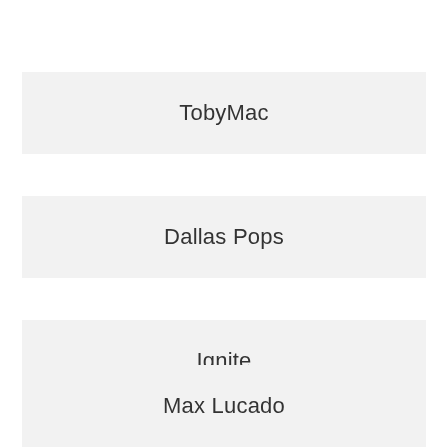TobyMac
Dallas Pops
Ignite
Max Lucado